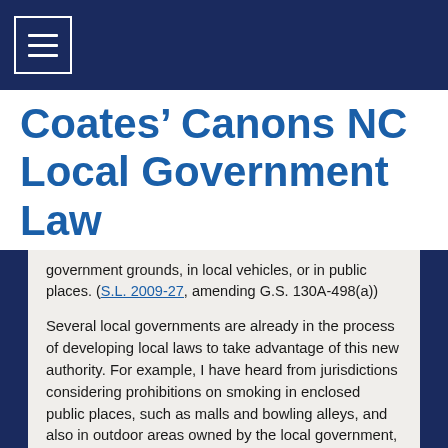≡ (menu icon)
Coates' Canons NC Local Government Law
government grounds, in local vehicles, or in public places. (S.L. 2009-27, amending G.S. 130A-498(a))
Several local governments are already in the process of developing local laws to take advantage of this new authority. For example, I have heard from jurisdictions considering prohibitions on smoking in enclosed public places, such as malls and bowling alleys, and also in outdoor areas owned by the local government, such as parks. Under